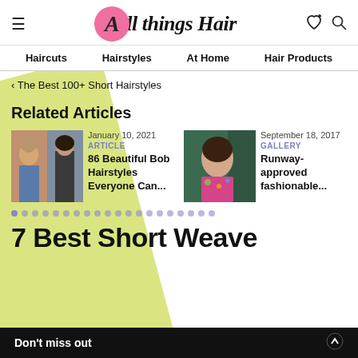All things Hair
Haircuts
Hairstyles
At Home
Hair Products
< The Best 100+ Short Hairstyles
Related Articles
January 10, 2021
ARTICLE
86 Beautiful Bob Hairstyles Everyone Can...
September 18, 2017
GALLERY
Runway-approved fashionable...
7 Best Short Weave
Don't miss out